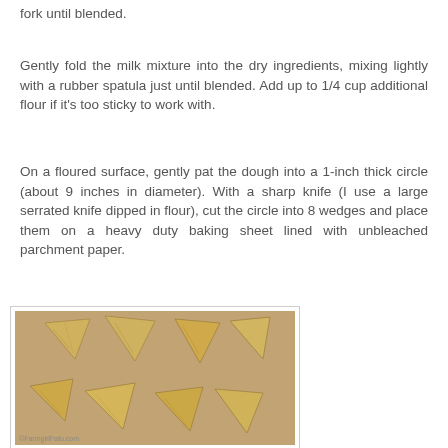fork until blended.
Gently fold the milk mixture into the dry ingredients, mixing lightly with a rubber spatula just until blended. Add up to 1/4 cup additional flour if it's too sticky to work with.
On a floured surface, gently pat the dough into a 1-inch thick circle (about 9 inches in diameter). With a sharp knife (I use a large serrated knife dipped in flour), cut the circle into 8 wedges and place them on a heavy duty baking sheet lined with unbleached parchment paper.
[Figure (photo): Eight unbaked scone wedges arranged on a baking sheet lined with parchment paper, viewed from above. The scones are pale yellow-beige in color with a rough, rustic texture.]